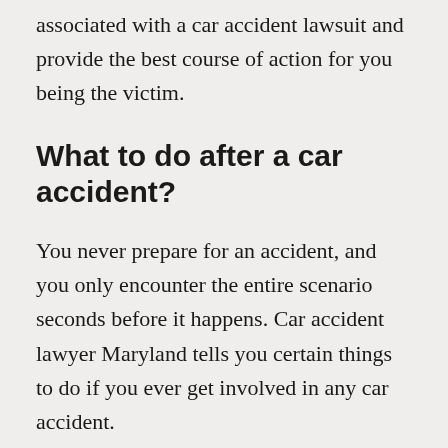associated with a car accident lawsuit and provide the best course of action for you being the victim.
What to do after a car accident?
You never prepare for an accident, and you only encounter the entire scenario seconds before it happens. Car accident lawyer Maryland tells you certain things to do if you ever get involved in any car accident.
The first and foremost thing you must do
1